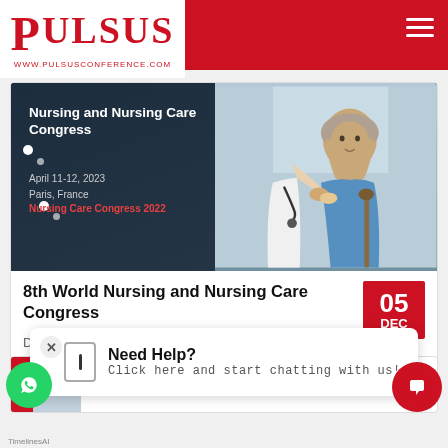PULSUS | WWW.PULSUSCONFERENCE.COM
[Figure (photo): Conference banner showing elderly woman with nurse and text: Nursing and Nursing Care Congress, April 11-12, 2023, Paris, France, Nursing Care Congress 2022]
8th World Nursing and Nursing Care Congress
December 05-06, 2022 Hybrid Event
Abu Dhabi, singapore
[Figure (other): Date badge showing 05 DEC in red]
[Figure (screenshot): Partial second conference card showing Pulsus logo and partial text: April 13-14, 2021 Dubai, UAE]
Need Help?
Click here and start chatting with us!
TimelinesAI